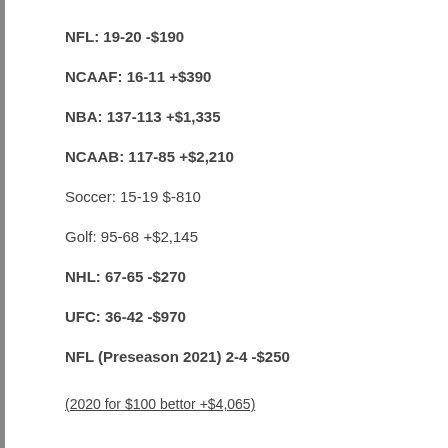NFL: 19-20 -$190
NCAAF: 16-11 +$390
NBA: 137-113 +$1,335
NCAAB: 117-85 +$2,210
Soccer: 15-19 $-810
Golf: 95-68 +$2,145
NHL: 67-65 -$270
UFC: 36-42 -$970
NFL (Preseason 2021) 2-4 -$250
(2020 for $100 bettor +$4,065)